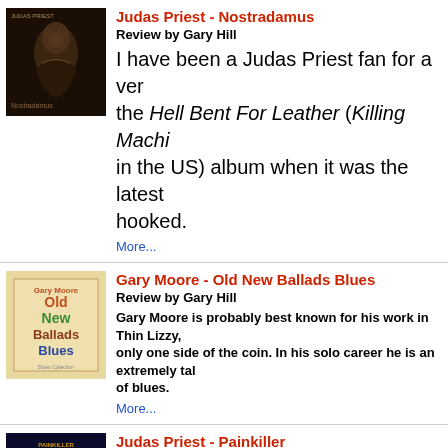[Figure (photo): Judas Priest - Nostradamus album cover, dark fantasy artwork with robed figure]
Judas Priest - Nostradamus
Review by Gary Hill
I have been a Judas Priest fan for a very long time, since the Hell Bent For Leather (Killing Machine in the US) album when it was the latest release... hooked.
More...
[Figure (photo): Gary Moore - Old New Ballads Blues album cover with orange and green text on cream background]
Gary Moore - Old New Ballads Blues
Review by Gary Hill
Gary Moore is probably best known for his work in Thin Lizzy, only one side of the coin. In his solo career he is an extremely talented performer of blues.
More...
[Figure (photo): Judas Priest - Painkiller album cover with dark blue sci-fi metallic machinery artwork]
Judas Priest - Painkiller
Review by Gary Hill
They open this album with its title track - seldom done any songs that are much more of a powerhouse in energy.
More...
[Figure (photo): Ozzy Osbourne - Prince of Darkness Box Set album cover with dark green image of Ozzy]
Ozzy Osbourne - Prince of Darkness Box Set
Review by Patrick Hennen
I'm here today to let you know about the new 4-disc box set by Ozzy Osbourne, titled appropriately, "Prince Of Darkness".
More...